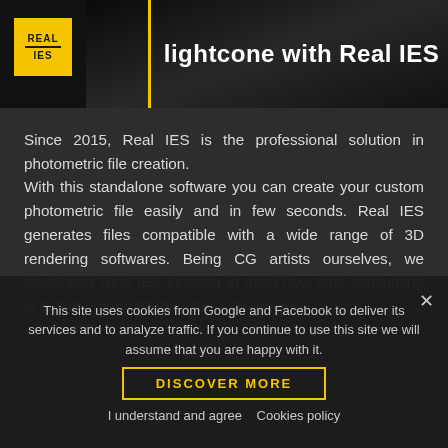[Figure (logo): Real IES yellow square logo with REAL IES text]
lightcone with Real IES
[Figure (photo): Dark gradient image showing a lightcone effect with a yellow vertical bar divider]
Since 2015, Real IES is the professional solution in photometric file creation. With this standalone software you can create your custom photometric file easily and in few seconds. Real IES generates files compatible with a wide range of 3D rendering softwares. Being CG artists ourselves, we developed Real IES keeping in mind how time-consuming is to find proper IES files for a 3D render.
This site uses cookies from Google and Facebook to deliver its services and to analyze traffic. If you continue to use this site we will assume that you are happy with it.
DISCOVER MORE
I understand and agree   Cookies policy